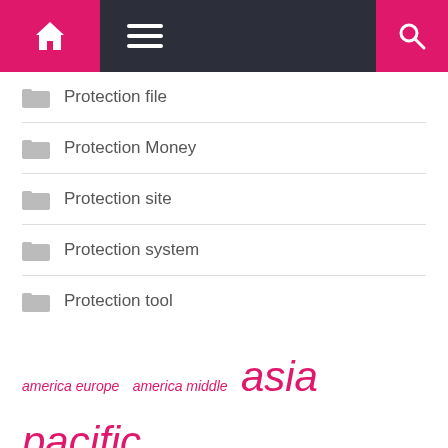Navigation bar with home, menu, and search icons
Protection file
Protection Money
Protection site
Protection system
Protection tool
america europe  america middle  asia pacific  competitive landscape  east africa  europe asia  forecast period  key players  market growth  market report  market research